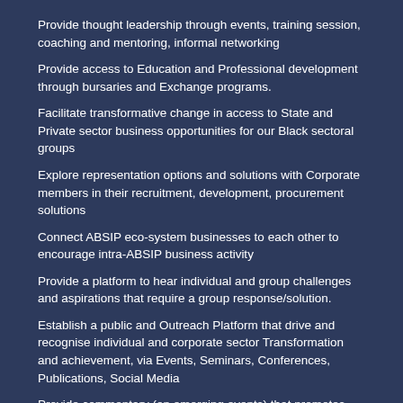Provide thought leadership through events, training session, coaching and mentoring, informal networking
Provide access to Education and Professional development through bursaries and Exchange programs.
Facilitate transformative change in access to State and Private sector business opportunities for our Black sectoral groups
Explore representation options and solutions with Corporate members in their recruitment, development, procurement solutions
Connect ABSIP eco-system businesses to each other to encourage intra-ABSIP business activity
Provide a platform to hear individual and group challenges and aspirations that require a group response/solution.
Establish a public and Outreach Platform that drive and recognise individual and corporate sector Transformation and achievement, via Events, Seminars, Conferences, Publications, Social Media
Provide commentary (on emerging events) that promotes